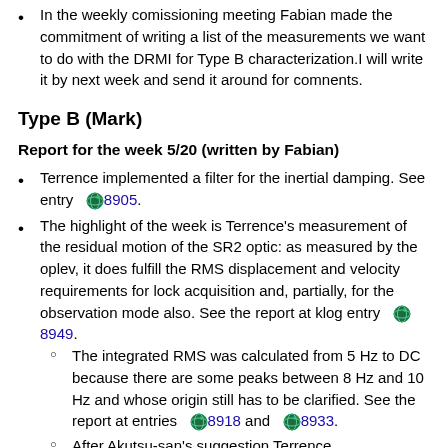In the weekly comissioning meeting Fabian made the commitment of writing a list of the measurements we want to do with the DRMI for Type B characterization.I will write it by next week and send it around for comnents.
Type B (Mark)
Report for the week 5/20 (written by Fabian)
Terrence implemented a filter for the inertial damping. See entry 8905.
The highlight of the week is Terrence's measurement of the residual motion of the SR2 optic: as measured by the oplev, it does fulfill the RMS displacement and velocity requirements for lock acquisition and, partially, for the observation mode also. See the report at klog entry 8949.
The integrated RMS was calculated from 5 Hz to DC because there are some peaks between 8 Hz and 10 Hz and whose origin still has to be clarified. See the report at entries 8918 and 8933.
After Akutsu-san's suggestion Terrence